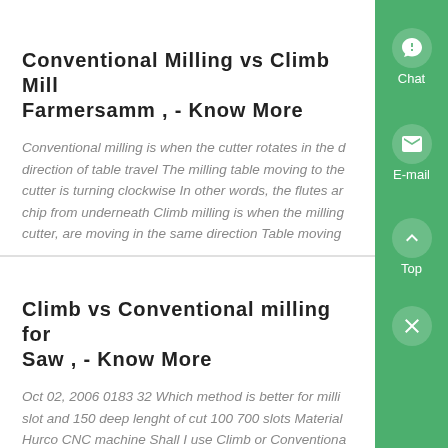Conventional Milling vs Climb Milling Farmersamm , - Know More
Conventional milling is when the cutter rotates in the direction of table travel The milling table moving to the cutter is turning clockwise In other words, the flutes are chip from underneath Climb milling is when the milling cutter, are moving in the same direction Table moving...
Climb vs Conventional milling for Saw , - Know More
Oct 02, 2006 0183 32 Which method is better for milling slot and 150 deep lenght of cut 100 700 slots Material Hurco CNC machine Shall I use Climb or Conventional Reason please ?...